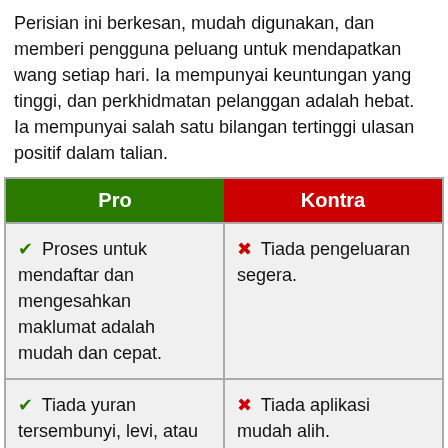Perisian ini berkesan, mudah digunakan, dan memberi pengguna peluang untuk mendapatkan wang setiap hari. Ia mempunyai keuntungan yang tinggi, dan perkhidmatan pelanggan adalah hebat. Ia mempunyai salah satu bilangan tertinggi ulasan positif dalam talian.
| Pro | Kontra |
| --- | --- |
| ✔ Proses untuk mendaftar dan mengesahkan maklumat adalah mudah dan cepat. | ✖ Tiada pengeluaran segera. |
| ✔ Tiada yuran tersembunyi, levi, atau komisen apabila menggunakan perkhidmatan ini. | ✖ Tiada aplikasi mudah alih. |
| ✔ Wakil khidmat |  |